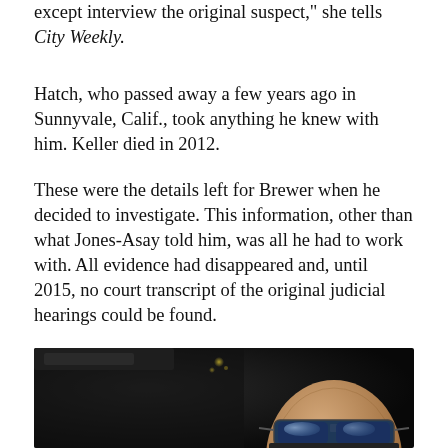except interview the original suspect," she tells City Weekly.
Hatch, who passed away a few years ago in Sunnyvale, Calif., took anything he knew with him. Keller died in 2012.
These were the details left for Brewer when he decided to investigate. This information, other than what Jones-Asay told him, was all he had to work with. All evidence had disappeared and, until 2015, no court transcript of the original judicial hearings could be found.
[Figure (photo): Dark photograph taken inside a car, showing a bald man wearing reflective blue sunglasses on the right side of the frame, with dark car interior on the left side and small light spots visible in the upper background.]